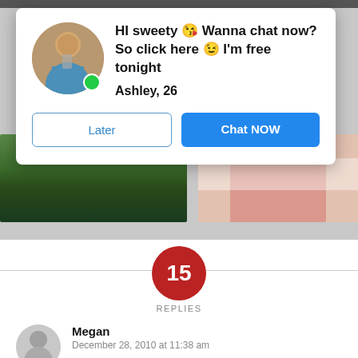[Figure (screenshot): A modal popup dialog overlay on a webpage. Contains a circular avatar photo of a woman with a green online indicator dot, bold text reading 'HI sweety 😘 Wanna chat now? So click here 😉 I'm free tonight', name 'Ashley, 26', and two buttons: 'Later' (outlined) and 'Chat NOW' (blue filled). Behind the modal are two partially visible photo panels.]
15 REPLIES
Megan
December 28, 2010 at 11:38 am
They're all so great!